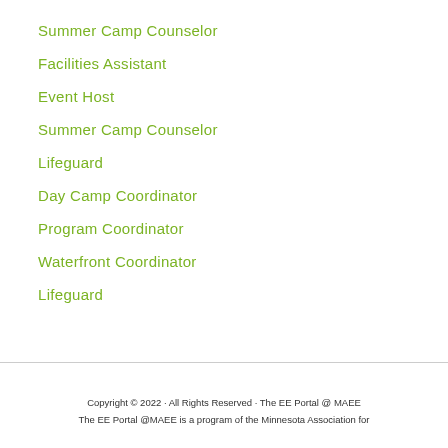Summer Camp Counselor
Facilities Assistant
Event Host
Summer Camp Counselor
Lifeguard
Day Camp Coordinator
Program Coordinator
Waterfront Coordinator
Lifeguard
Copyright © 2022 · All Rights Reserved · The EE Portal @ MAEE
The EE Portal @MAEE is a program of the Minnesota Association for